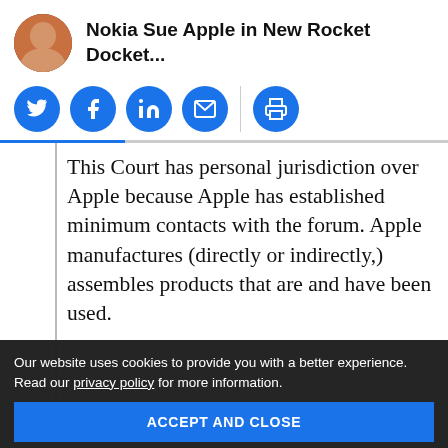Nokia Sue Apple in New Rocket Docket...
[Figure (other): Social share icons: Twitter, Facebook, LinkedIn, Email, Print — all blue circle buttons with white icons]
This Court has personal jurisdiction over Apple because Apple has established minimum contacts with the forum. Apple manufactures (directly or indirectly) assembles products that are and have been used.
Our website uses cookies to provide you with a better experience. Read our privacy policy for more information. ACCEPT AND CLOSE